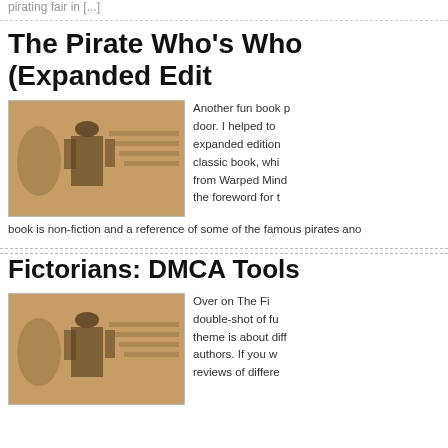pirating fair in [...]
The Pirate Who’s Who (Expanded Edit…
[Figure (photo): Sepia-toned photo of a man in a hat and suit standing at a staircase railing in an ornate interior]
Another fun book p… door. I helped to… expanded edition… classic book, whi… from Warped Mind… the foreword for t…
book is non-fiction and a reference of some of the famous pirates ano…
Fictorians: DMCA Tools
[Figure (photo): Sepia-toned photo of the same man in a hat and suit standing at a staircase railing in an ornate interior]
Over on The Fi… double-shot of fu… theme is about diff… authors. If you w… reviews of differe…